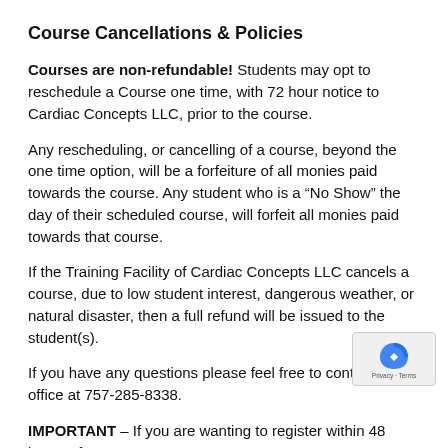Course Cancellations & Policies
Courses are non-refundable! Students may opt to reschedule a Course one time, with 72 hour notice to Cardiac Concepts LLC, prior to the course.
Any rescheduling, or cancelling of a course, beyond the one time option, will be a forfeiture of all monies paid towards the course. Any student who is a “No Show” the day of their scheduled course, will forfeit all monies paid towards that course.
If the Training Facility of Cardiac Concepts LLC cancels a course, due to low student interest, dangerous weather, or natural disaster, then a full refund will be issued to the student(s).
If you have any questions please feel free to contact the office at 757-285-8338.
IMPORTANT – If you are wanting to register within 48 hours of a listed course, please call our office at 757-285-8338 to